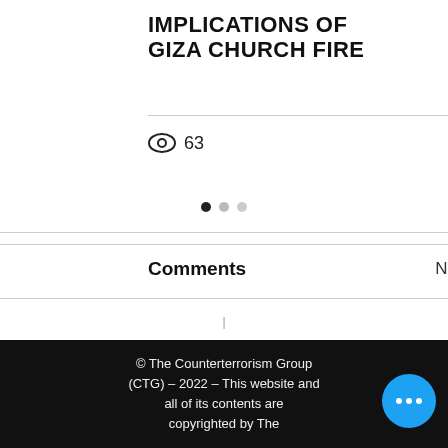IMPLICATIONS OF GIZA CHURCH FIRE
63
Loading...
© The Counterterrorism Group (CTG) – 2022 – This website and all of its contents are copyrighted by The